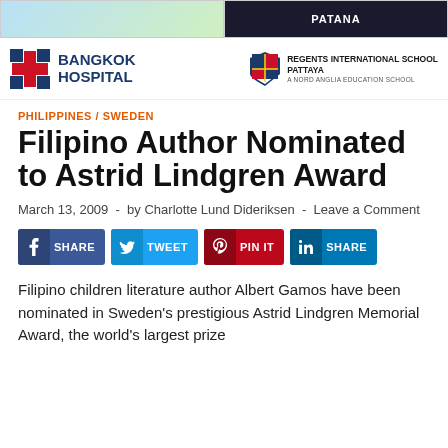[Figure (logo): Bangkok Hospital logo with red cross and blue text]
[Figure (logo): Regents International School Pattaya logo with shield emblem]
PHILIPPINES / SWEDEN
Filipino Author Nominated to Astrid Lindgren Award
March 13, 2009 - by Charlotte Lund Dideriksen - Leave a Comment
[Figure (infographic): Social share buttons: SHARE (Facebook), TWEET (Twitter), PIN IT (Pinterest), SHARE (LinkedIn)]
Filipino children literature author Albert Gamos have been nominated in Sweden's prestigious Astrid Lindgren Memorial Award, the world's largest prize